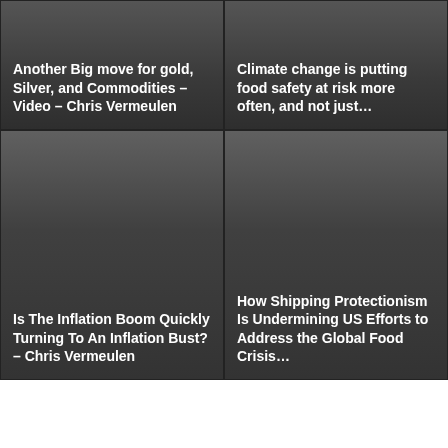[Figure (illustration): Dark gray gradient card background with article title overlay]
Another Big move for gold, Silver, and Commodities – Video – Chris Vermeulen
[Figure (illustration): Dark gray gradient card background with article title overlay]
Climate change is putting food safety at risk more often, and not just…
[Figure (illustration): Dark gray gradient card background with article title overlay]
Is The Inflation Boom Quickly Turning To An Inflation Bust? – Chris Vermeulen
[Figure (illustration): Dark gray gradient card background with article title overlay]
How Shipping Protectionism Is Undermining US Efforts to Address the Global Food Crisis…